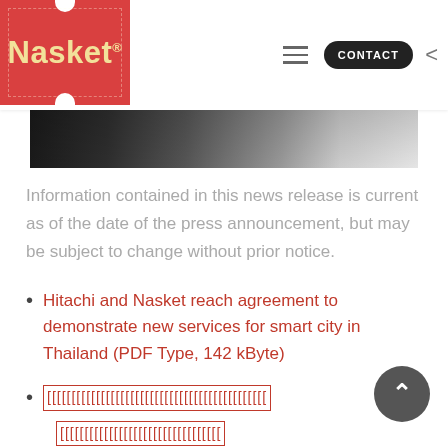Nasket — navigation bar with logo, hamburger menu, CONTACT button, and back arrow
[Figure (photo): Partial photo strip showing a decorative/interior scene, dark on left transitioning to lighter tones]
Information contained in this news release is current as of the date of the press announcement, but may be subject to change without prior notice.
Hitachi and Nasket reach agreement to demonstrate new services for smart city in Thailand (PDF Type, 142 kByte)
[garbled/encoded text link in Thai or similar script]